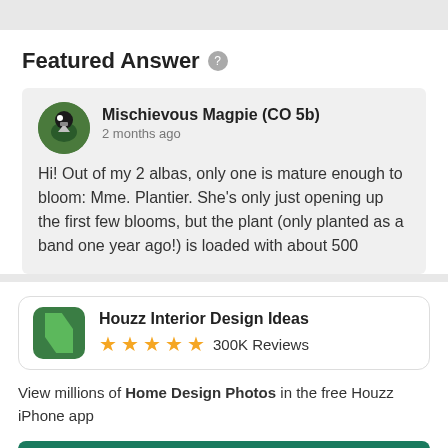Featured Answer
Mischievous Magpie (CO 5b)
2 months ago
Hi! Out of my 2 albas, only one is mature enough to bloom: Mme. Plantier. She's only just opening up the first few blooms, but the plant (only planted as a band one year ago!) is loaded with about 500
[Figure (infographic): Houzz Interior Design Ideas app promotional card with green icon, 5 gold stars, and 300K Reviews]
View millions of Home Design Photos in the free Houzz iPhone app
Continue
Go to Mobile Site